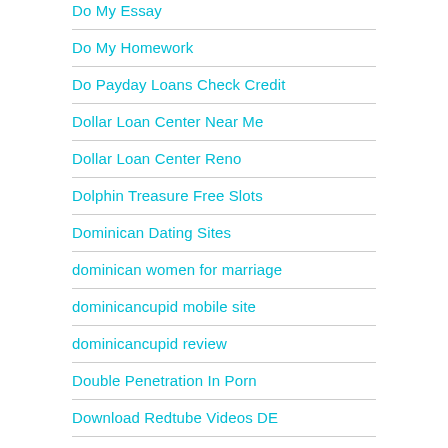Do My Essay
Do My Homework
Do Payday Loans Check Credit
Dollar Loan Center Near Me
Dollar Loan Center Reno
Dolphin Treasure Free Slots
Dominican Dating Sites
dominican women for marriage
dominicancupid mobile site
dominicancupid review
Double Penetration In Porn
Download Redtube Videos DE
Drivers Downloads